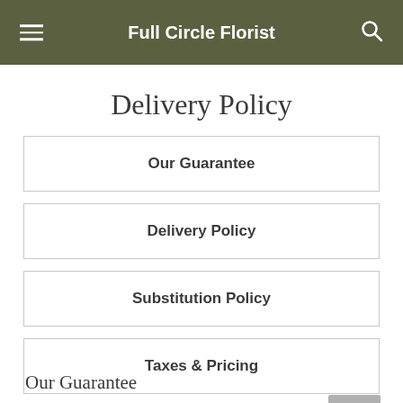Full Circle Florist
Delivery Policy
Our Guarantee
Delivery Policy
Substitution Policy
Taxes & Pricing
Our Guarantee